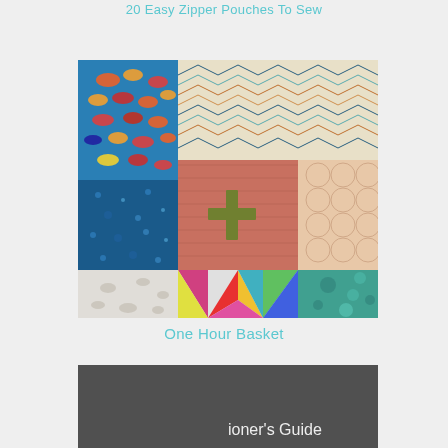20 Easy Zipper Pouches To Sew
[Figure (photo): A patchwork fabric basket with colorful quilted panels including blue bandana print, zigzag pattern, salmon/pink with green cross, peach circles, rainbow pinwheel triangles, and teal paisley patterns.]
One Hour Basket
[Figure (photo): Partial image of what appears to be a guide book or sign with cursive text visible at the bottom, partially cropped.]